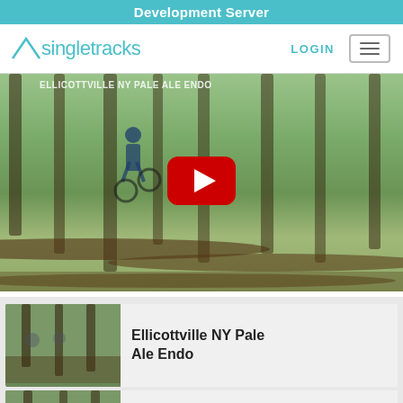Development Server
[Figure (logo): Singletracks logo with triangle icon]
LOGIN
[Figure (screenshot): YouTube video embed showing a mountain biker riding through a forest with fallen logs. A red YouTube play button is visible in the center. Overlay text reads: ELLICOTTVILLE NY PALE ALE ENDO]
Ellicottville NY Pale Ale Endo
[Figure (photo): Thumbnail image of forest trail, partially visible at bottom]